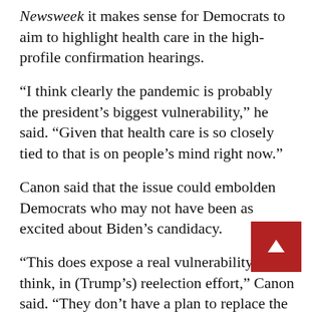Newsweek it makes sense for Democrats to aim to highlight health care in the high-profile confirmation hearings.
“I think clearly the pandemic is probably the president’s biggest vulnerability,” he said. “Given that health care is so closely tied to that is on people’s mind right now.”
Canon said that the issue could embolden Democrats who may not have been as excited about Biden’s candidacy.
“This does expose a real vulnerability, I think, in (Trump’s) reelection effort,” Canon said. “They don’t have a plan to replace the Affordable Care Act if it’s struck down.”
Even more significantly, he said, it could help d… ballot Democrats running in the House and Senate